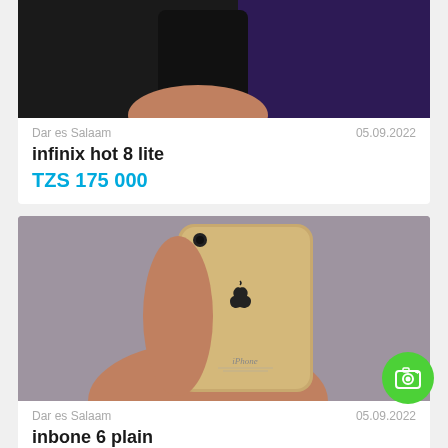[Figure (photo): Hand holding a dark smartphone (Infinix Hot 8 Lite) with purple/dark background, cropped at top]
Dar es Salaam    05.09.2022
infinix hot 8 lite
TZS 175 000
[Figure (photo): Hand holding a gold iPhone 6 from the back, showing the Apple logo and iPhone text, gray/purple background]
Dar es Salaam    05.09.2022
inbone 6 plain